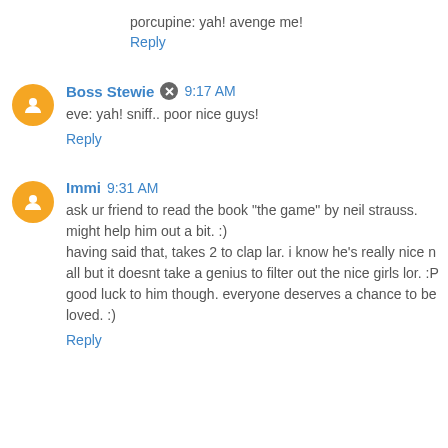porcupine: yah! avenge me!
Reply
Boss Stewie 9:17 AM
eve: yah! sniff.. poor nice guys!
Reply
Immi 9:31 AM
ask ur friend to read the book "the game" by neil strauss. might help him out a bit. :)
having said that, takes 2 to clap lar. i know he's really nice n all but it doesnt take a genius to filter out the nice girls lor. :P
good luck to him though. everyone deserves a chance to be loved. :)
Reply